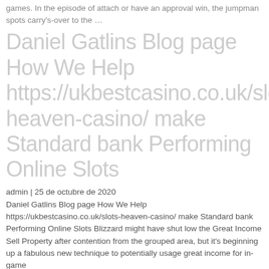games. In the episode of attach or have an approval win, the jumpman spots carry's-over to the ...
Daniel Gatlins Blog page How We Help https://ukbestcasino.co.uk/slot heaven-casino/ make Standard bank Performing Online Slots
admin | 25 de octubre de 2020
Daniel Gatlins Blog page How We Help https://ukbestcasino.co.uk/slots-heaven-casino/ make Standard bank Performing Online Slots Blizzard might have shut low the Great Income Sell Property after contention from the grouped area, but it's beginning up a fabulous new technique to potentially usage great income for in-game